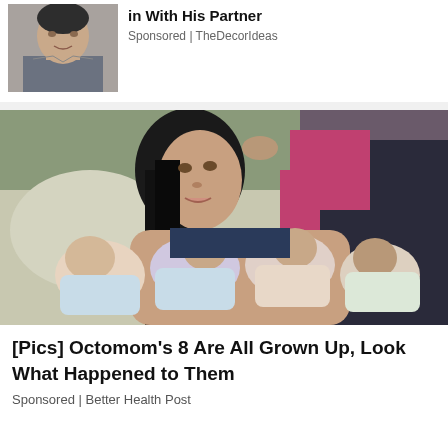[Figure (photo): Partial thumbnail of an older man's face, used as ad image]
in With His Partner
Sponsored | TheDecorIdeas
[Figure (photo): Photo of a young woman with long dark hair holding multiple newborn babies (octuplets), with another person standing behind her]
[Pics] Octomom's 8 Are All Grown Up, Look What Happened to Them
Sponsored | Better Health Post